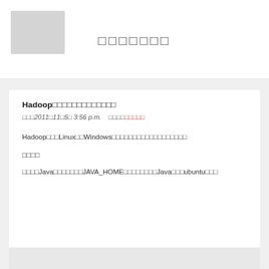[Figure (logo): Gray placeholder logo box in top left corner]
□□□□□□□
Hadoop□□□□□□□□□□□□□
□□□2011□11□5□ 3:56 p.m.    □□□□□□□□□
Hadoop□□□Linux□□Windows□□□□□□□□□□□□□□□□□□
□□□□
□□□□Java□□□□□□□JAVA_HOME□□□□□□□□Java□□□ubuntu□□□